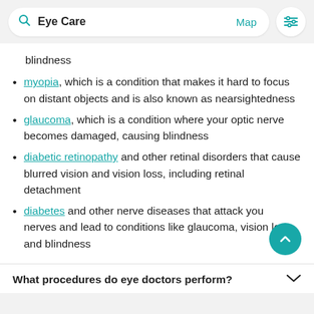Eye Care   Map
blindness
myopia, which is a condition that makes it hard to focus on distant objects and is also known as nearsightedness
glaucoma, which is a condition where your optic nerve becomes damaged, causing blindness
diabetic retinopathy and other retinal disorders that cause blurred vision and vision loss, including retinal detachment
diabetes and other nerve diseases that attack your nerves and lead to conditions like glaucoma, vision loss, and blindness
What procedures do eye doctors perform?